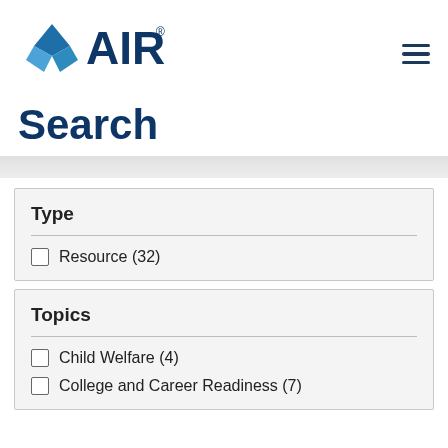[Figure (logo): AIR (American Institutes for Research) logo with blue diamond/arrow shape and AIR text in dark blue]
Search
Type
Resource (32)
Topics
Child Welfare (4)
College and Career Readiness (7)